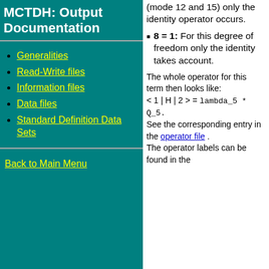MCTDH: Output Documentation
Generalities
Read-Write files
Information files
Data files
Standard Definition Data Sets
Back to Main Menu
(mode 12 and 15) only the identity operator occurs.
8 = 1: For this degree of freedom only the identity takes account.
The whole operator for this term then looks like:
< 1 | H | 2 > = lambda_5 *  Q_5.
See the corresponding entry in the operator file .
The operator labels can be found in the